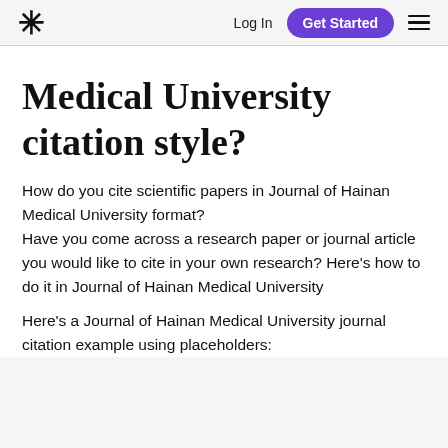* Log In Get Started ≡
Medical University citation style?
How do you cite scientific papers in Journal of Hainan Medical University format?
Have you come across a research paper or journal article you would like to cite in your own research? Here's how to do it in Journal of Hainan Medical University
Here's a Journal of Hainan Medical University journal citation example using placeholders: